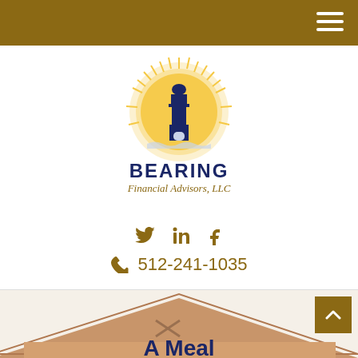Navigation bar with hamburger menu
[Figure (logo): Bearing Financial Advisors LLC logo: lighthouse with golden sun rays behind it, dark navy blue lighthouse structure, waves at base, BEARING in bold navy text, Financial Advisors, LLC in gold italic text]
Twitter, LinkedIn, Facebook social media icons
512-241-1035
[Figure (illustration): Partial view of a house illustration with tan/brown roof and 'A Meal' text beginning to appear at bottom, with an X mark on the roof]